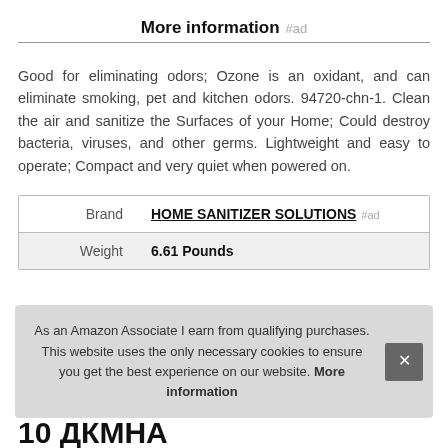More information #ad
Good for eliminating odors; Ozone is an oxidant, and can eliminate smoking, pet and kitchen odors. 94720-chn-1. Clean the air and sanitize the Surfaces of your Home; Could destroy bacteria, viruses, and other germs. Lightweight and easy to operate; Compact and very quiet when powered on.
|  |  |
| --- | --- |
| Brand | HOME SANITIZER SOLUTIONS #ad |
| Weight | 6.61 Pounds |
As an Amazon Associate I earn from qualifying purchases. This website uses the only necessary cookies to ensure you get the best experience on our website. More information
10 ДКМНА